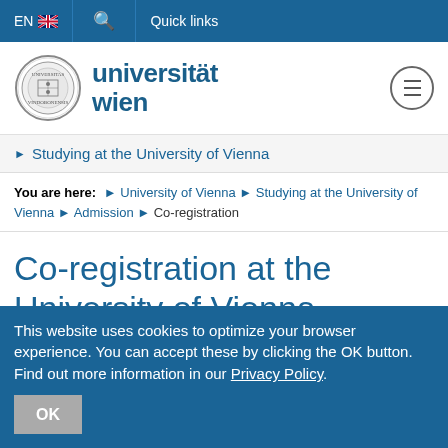EN  Quick links
[Figure (logo): Universität Wien logo with university seal and text 'universität wien']
Studying at the University of Vienna
You are here: University of Vienna › Studying at the University of Vienna › Admission › Co-registration
Co-registration at the University of Vienna
This website uses cookies to optimize your browser experience. You can accept these by clicking the OK button. Find out more information in our Privacy Policy.